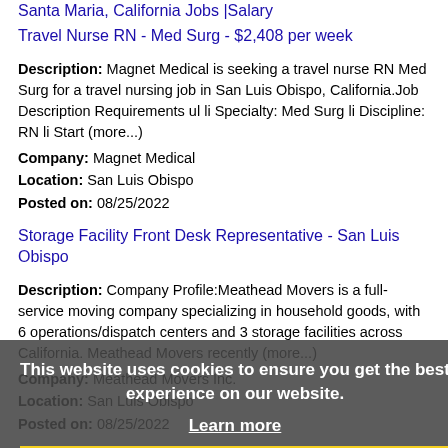Santa Maria, California Jobs |Salary
Travel Nurse RN - Med Surg - $2,408 per week
Description: Magnet Medical is seeking a travel nurse RN Med Surg for a travel nursing job in San Luis Obispo, California.Job Description Requirements ul li Specialty: Med Surg li Discipline: RN li Start (more...)
Company: Magnet Medical
Location: San Luis Obispo
Posted on: 08/25/2022
Storage Facility Front Desk Representative - San Luis Obispo
Description: Company Profile:Meathead Movers is a full-service moving company specializing in household goods, with 6 operations/dispatch centers and 3 storage facilities across California. Meathead Movers recently (more...)
Company: Meathead Movers Inc.
Location: San Luis Obispo
Posted on: 08/25/2022
Guest Services Representative (PT & FT)
Description: The next step in your career could lead to your greatest adventure As the 1 leader in hospitality worldwide,
This website uses cookies to ensure you get the best experience on our website.
Learn more
Got it!